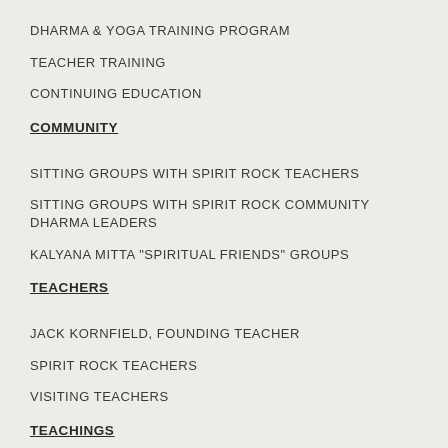DHARMA & YOGA TRAINING PROGRAM
TEACHER TRAINING
CONTINUING EDUCATION
COMMUNITY
SITTING GROUPS WITH SPIRIT ROCK TEACHERS
SITTING GROUPS WITH SPIRIT ROCK COMMUNITY DHARMA LEADERS
KALYANA MITTA "SPIRITUAL FRIENDS" GROUPS
TEACHERS
JACK KORNFIELD, FOUNDING TEACHER
SPIRIT ROCK TEACHERS
VISITING TEACHERS
TEACHINGS
THE TEACHINGS OF THE BUDDHA